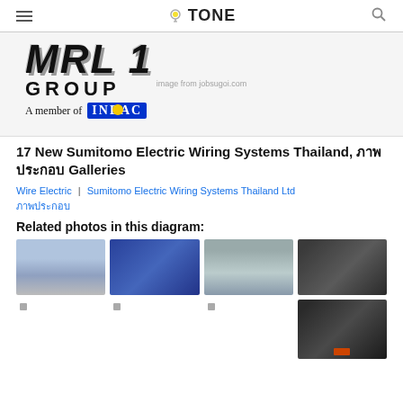☰  💡 TONE  🔍
[Figure (logo): MRL Group logo with 'A member of INDAC' text and watermark 'image from jobsugoi.com']
17 New Sumitomo Electric Wiring Systems Thailand, ภาพประกอบ Galleries
Wire Electric  |  Sumitomo Electric Wiring Systems Thailand Ltd ภาพประกอบ
Related photos in this diagram:
[Figure (photo): City skyline / Philadelphia-like cityscape]
[Figure (photo): People working in a lab with microscopes]
[Figure (photo): Factory or industrial interior]
[Figure (photo): Black electronic device/router]
[Figure (photo): Black electronic device with orange accents (second row)]